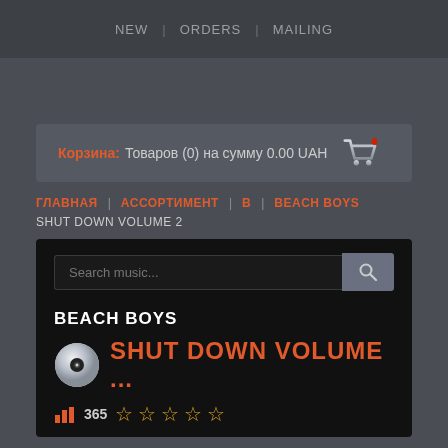NEW | ORDERS | MAILING
Корзина: Товаров (0) на сумму 0.00 UAH
ГЛАВНАЯ | АССОРТИМЕНТ | В | BEACH BOYS SHUT DOWN VOLUME 2
[Figure (screenshot): Music store product page showing search bar, artist name BEACH BOYS, album title SHUT DOWN VOLUME ... with CD icon, stats showing 365 and star ratings]
BEACH BOYS
SHUT DOWN VOLUME ...
365